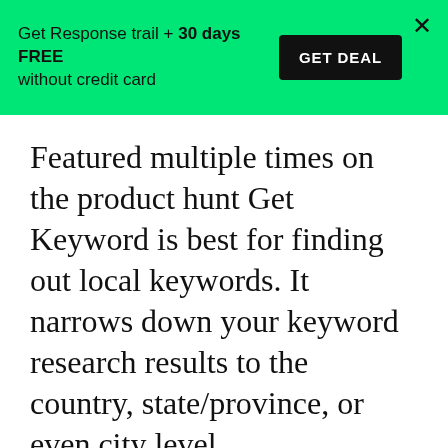Get Response trail + 30 days FREE without credit card  GET DEAL  X
Featured multiple times on the product hunt Get Keyword is best for finding out local keywords. It narrows down your keyword research results to the country, state/province, or even city level.
Pricing:
Paid plans start at 24$ per month